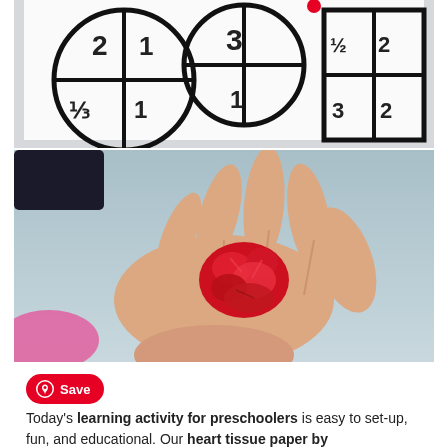[Figure (photo): Top portion of an educational activity worksheet showing circles with fractions or numbers written inside them, with black outlines on white paper, partially visible at top]
[Figure (photo): Close-up photograph of a child's open hand holding a crumpled red tissue paper ball, with a pink object visible in the lower left background]
Save
Today's learning activity for preschoolers is easy to set-up, fun, and educational. Our heart tissue paper by